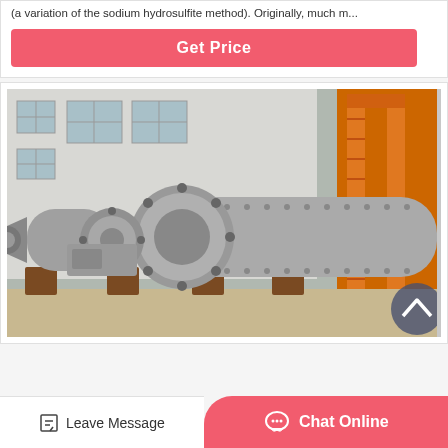(a variation of the sodium hydrosulfite method). Originally, much m...
[Figure (other): Get Price button — red/coral rounded rectangle with white bold text 'Get Price']
[Figure (photo): Industrial ball mill machinery photographed in a factory/warehouse setting. Large grey cylindrical grinding mill with flanged ends, multiple motors, mounted on brown metal stands. Orange crane/gantry visible in background right. White brick building in background left.]
Leave Message
Chat Online